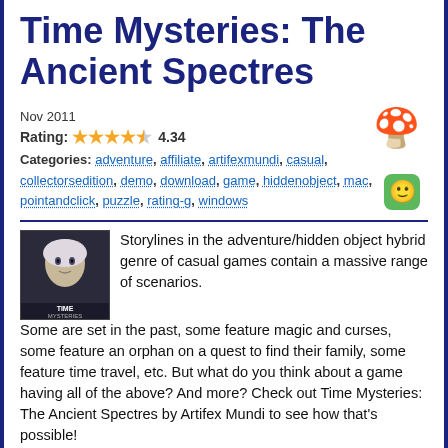Time Mysteries: The Ancient Spectres
Nov 2011
Rating: 4.34
Categories: adventure, affiliate, artifexmundi, casual, collectorsedition, demo, download, game, hiddenobject, mac, pointandclick, puzzle, rating-g, windows
[Figure (illustration): Small game cover thumbnail showing a pale figure, labeled TIME MYSTERIES]
Storylines in the adventure/hidden object hybrid genre of casual games contain a massive range of scenarios. Some are set in the past, some feature magic and curses, some feature an orphan on a quest to find their family, some feature time travel, etc. But what do you think about a game having all of the above? And more? Check out Time Mysteries: The Ancient Spectres by Artifex Mundi to see how that's possible!
Spooky Night Escape